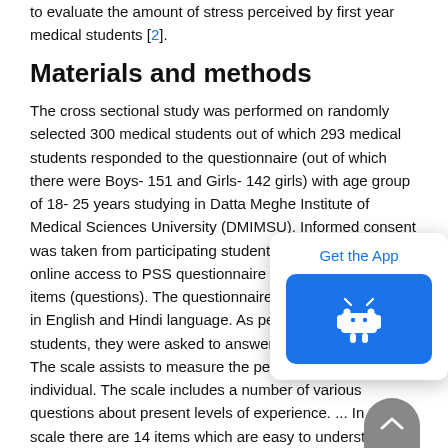to evaluate the amount of stress perceived by first year medical students [2].
Materials and methods
The cross sectional study was performed on randomly selected 300 medical students out of which 293 medical students responded to the questionnaire (out of which there were Boys- 151 and Girls- 142 girls) with age group of 18- 25 years studying in Datta Meghe Institute of Medical Sciences University (DMIMSU). Informed consent was taken from participating students. They were given online access to PSS questionnaire which contains 14 items (questions). The questionnaire was available online in English and Hindi language. As per the convenience of students, they were asked to answer the PSS questions. The scale assists to measure the perception of stress of individual. The scale includes a number of various questions about present levels of experience. ... In this scale there are 14 items which are easy to understand, and the response alternatives are simple